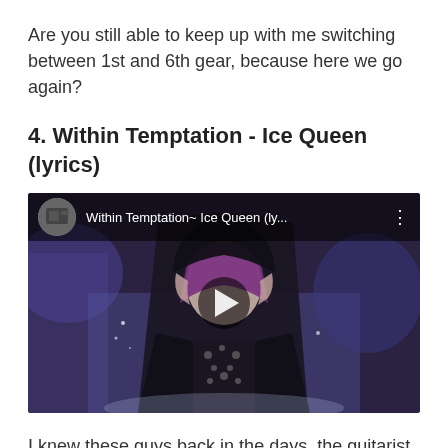Are you still able to keep up with me switching between 1st and 6th gear, because here we go again?
4. Within Temptation - Ice Queen (lyrics)
[Figure (screenshot): YouTube video thumbnail showing a woman with purple hair wearing a black hooded cape in a snowy winter scene. The video title overlay reads 'Within Temptation~ Ice Queen (ly...' with a play button in the center.]
I knew these guys back in the days, the guitarist often visited the bar dancing where I was working as